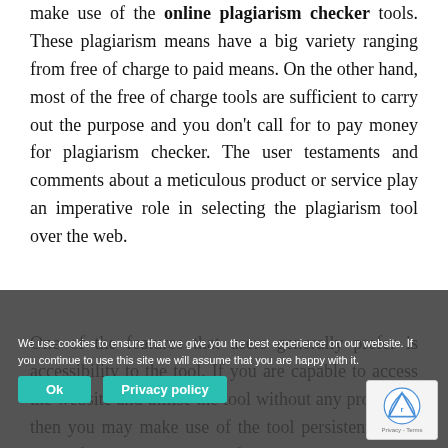make use of the online plagiarism checker tools. These plagiarism means have a big variety ranging from free of charge to paid means. On the other hand, most of the free of charge tools are sufficient to carry out the purpose and you don't call for to pay money for plagiarism checker. The user testaments and comments about a meticulous product or service play an imperative role in selecting the plagiarism tool over the web.
One of the features that users generally prefer is accessibility to the tool. If you are capable to access the website and utilise the tool without any problems, then you may make use of the tool persistently. So, ease of access is the vital factor that establishes the utilisation of plagiarism tools. Just look at the recognition of the tool. If too many
We use cookies to ensure that we give you the best experience on our website. If you continue to use this site we will assume that you are happy with it.